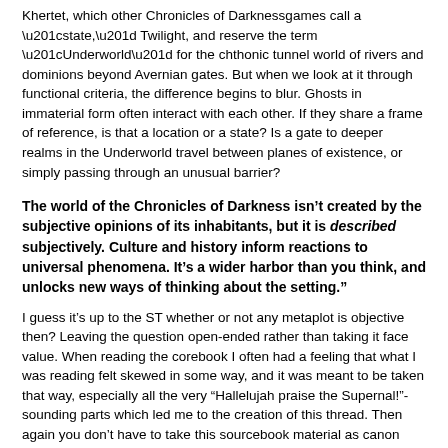Khertet, which other Chronicles of Darknessgames call a “state,” Twilight, and reserve the term “Underworld” for the chthonic tunnel world of rivers and dominions beyond Avernian gates. But when we look at it through functional criteria, the difference begins to blur. Ghosts in immaterial form often interact with each other. If they share a frame of reference, is that a location or a state? Is a gate to deeper realms in the Underworld travel between planes of existence, or simply passing through an unusual barrier?
The world of the Chronicles of Darkness isn’t created by the subjective opinions of its inhabitants, but it is described subjectively. Culture and history inform reactions to universal phenomena. It’s a wider harbor than you think, and unlocks new ways of thinking about the setting.”
I guess it’s up to the ST whether or not any metaplot is objective then? Leaving the question open-ended rather than taking it face value. When reading the corebook I often had a feeling that what I was reading felt skewed in some way, and it was meant to be taken that way, especially all the very "Hallelujah praise the Supernal!"-sounding parts which led me to the creation of this thread. Then again you don’t have to take this sourcebook material as canon either. Just I wondered if the whole story of the Exarchs, the Lie, The Supernal etc. should be taken as "This is what mages believe and this is how they explain their world." And yet it is also implied that it may not mesh coherently with what the other supernaturals (Especially mummies and demons) would say, so there is that room for re-interpretation there.